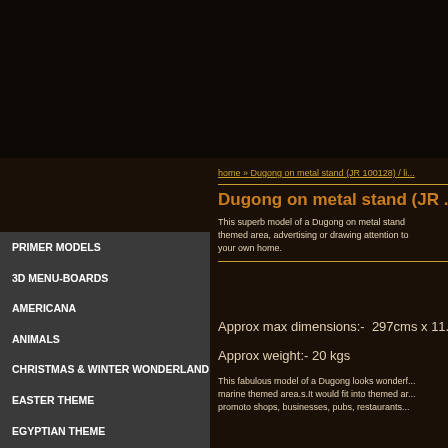home » Dugong on metal stand (JR 100128) / li...
Dugong on metal stand (JR ...
This superb model of a Dugong on metal stand themed area, advertising or drawing attention to your own home.
Approx max dimensions:-  297cms x 11...
Approx weight:- 20 kgs
This fabulous model of a Dugong looks wonderf... marine themed area.s.It would fit into themed ar... promoto shops, businesses, pubs, restaurants...
PRIMER MODELS
3D MENU-BOARDS
AMERICANA
ANIMALS
CHRISTMAS & WINTER WONDERLAND
EASTER THEME
EGYPTIAN THEME
FARM & GARDEN THEME